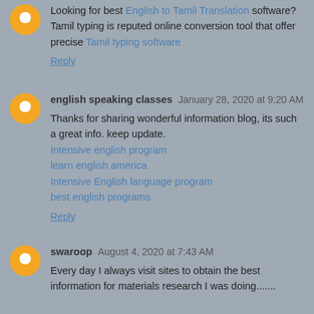Looking for best English to Tamil Translation software? Tamil typing is reputed online conversion tool that offer precise Tamil typing software
Reply
english speaking classes January 28, 2020 at 9:20 AM
Thanks for sharing wonderful information blog, its such a great info. keep update. Intensive english program learn english america Intensive English language program best english programs
Reply
swaroop August 4, 2020 at 7:43 AM
Every day I always visit sites to obtain the best information for materials research I was doing.......